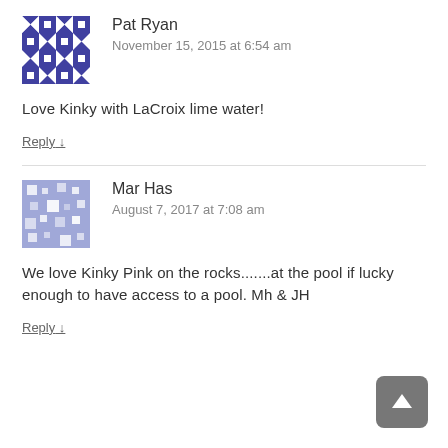[Figure (illustration): Blue and white geometric patterned avatar for user Pat Ryan]
Pat Ryan
November 15, 2015 at 6:54 am
Love Kinky with LaCroix lime water!
Reply ↓
[Figure (illustration): Light blue and white geometric patterned avatar for user Mar Has]
Mar Has
August 7, 2017 at 7:08 am
We love Kinky Pink on the rocks.......at the pool if lucky enough to have access to a pool. Mh & JH
Reply ↓